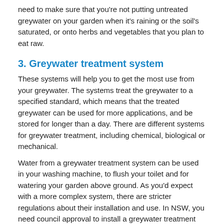need to make sure that you're not putting untreated greywater on your garden when it's raining or the soil's saturated, or onto herbs and vegetables that you plan to eat raw.
3. Greywater treatment system
These systems will help you to get the most use from your greywater. The systems treat the greywater to a specified standard, which means that the treated greywater can be used for more applications, and be stored for longer than a day. There are different systems for greywater treatment, including chemical, biological or mechanical.
Water from a greywater treatment system can be used in your washing machine, to flush your toilet and for watering your garden above ground. As you'd expect with a more complex system, there are stricter regulations about their installation and use. In NSW, you need council approval to install a greywater treatment system, as well as an annual check by your preferred, licensed plumber.
So, why not greywater?
A quick review:
Manual bucketing: water is collected in a bucket from your shower and washing machine water and can be used on your